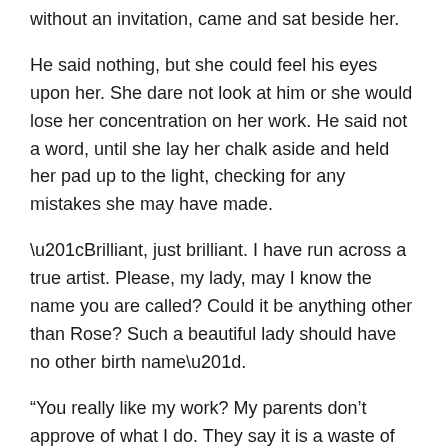without an invitation, came and sat beside her.
He said nothing, but she could feel his eyes upon her. She dare not look at him or she would lose her concentration on her work. He said not a word, until she lay her chalk aside and held her pad up to the light, checking for any mistakes she may have made.
“Brilliant, just brilliant. I have run across a true artist. Please, my lady, may I know the name you are called? Could it be anything other than Rose? Such a beautiful lady should have no other birth name”.
“You really like my work? My parents don’t approve of what I do. They say it is a waste of time and that art is nothing that would draw a wealthy gentleman looking for a bride”. He took her hand in his and he ever so tenderly